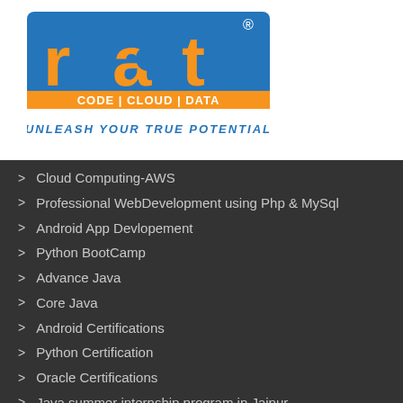[Figure (logo): RAT Institute logo with orange and blue colors, text CODE | CLOUD | DATA, tagline UNLEASH YOUR TRUE POTENTIAL]
Cloud Computing-AWS
Professional WebDevelopment using Php & MySql
Android App Devlopement
Python BootCamp
Advance Java
Core Java
Android Certifications
Python Certification
Oracle Certifications
Java summer internship program in Jaipur
Machine Learning